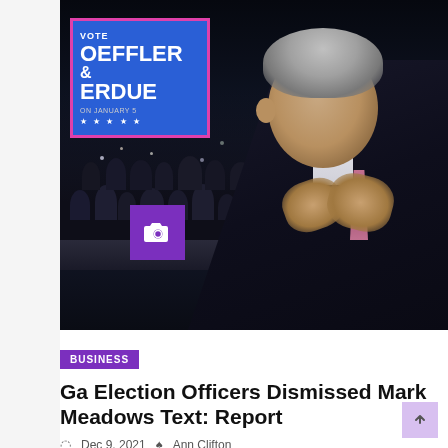[Figure (photo): A man in a dark suit clapping at a political rally. In the background is a blue sign reading VOTE LOEFFLER & PERDUE ON JANUARY 5. A crowd is visible in the background. A purple camera icon box is overlaid in the lower left of the image.]
BUSINESS
Ga Election Officers Dismissed Mark Meadows Text: Report
Dec 9, 2021  Ann Clifton
...